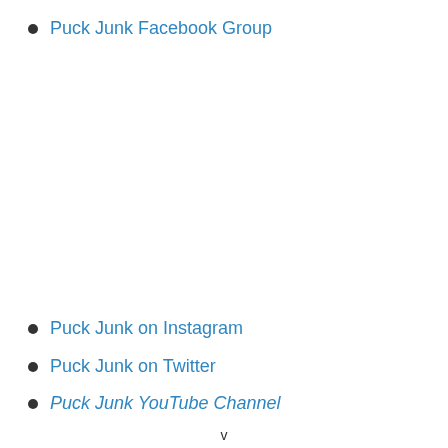Puck Junk Facebook Group
Puck Junk on Instagram
Puck Junk on Twitter
Puck Junk YouTube Channel
v